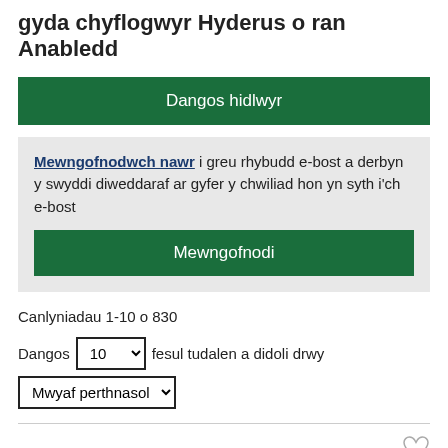gyda chyflogwyr Hyderus o ran Anabledd
Dangos hidlwyr
Mewngofnodwch nawr i greu rhybudd e-bost a derbyn y swyddi diweddaraf ar gyfer y chwiliad hon yn syth i'ch e-bost
Mewngofnodi
Canlyniadau 1-10 o 830
Dangos 10 fesul tudalen a didoli drwy Mwyaf perthnasol
Healthcare Assistant